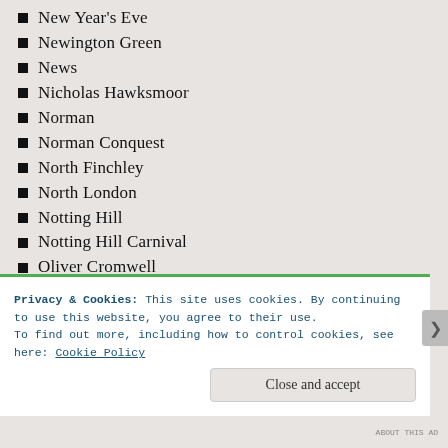New Year's Eve
Newington Green
News
Nicholas Hawksmoor
Norman
Norman Conquest
North Finchley
North London
Notting Hill
Notting Hill Carnival
Oliver Cromwell
Olympia
Olympics 2012
Oxford and Cambridge Boat Race
Paddington
Privacy & Cookies: This site uses cookies. By continuing to use this website, you agree to their use.
To find out more, including how to control cookies, see here: Cookie Policy
ABOUT THIS AD